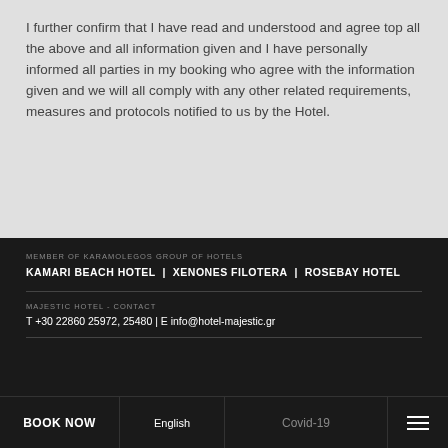I further confirm that I have read and understood and agree top all the above and all information given and I have personally informed all parties in my booking who agree with the information given and we will all comply with any other related requirements, measures and protocols notified to us by the Hotel.
MEMBER OF KARAMOLEGOS GROUP OF HOTELS
KAMARI BEACH HOTEL | XENONES FILOTERA | ROSEBAY HOTEL
MAJESTIC HOTEL - CONTACT
T +30 22860 25972, 25480 | E info@hotel-majestic.gr
BOOK NOW | English | Covid-19 | [menu]